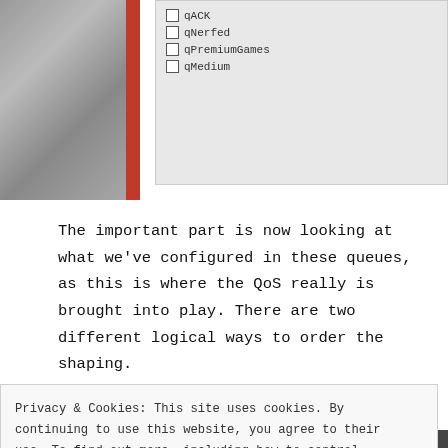[Figure (screenshot): Screenshot of a network QoS configuration UI showing checkboxes for qACK, qNerfed, qPremiumGames, qMedium queue items, with a gray decorative panel on the left with a red vertical bar]
The important part is now looking at what we've configured in these queues, as this is where the QoS really is brought into play. There are two different logical ways to order the shaping.
1.  Statically setting the rates for HTTP
Privacy & Cookies: This site uses cookies. By continuing to use this website, you agree to their use. To find out more, including how to control cookies, see here: Cookie Policy
Close and accept